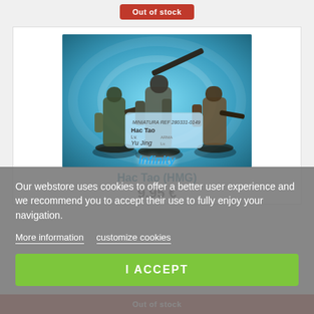Out of stock
[Figure (photo): Product photo of Hac Tao (HMG) miniature figures from Infinity wargame by Yu Jing faction. Three armored sci-fi soldiers on a blue swirling background with an Infinity logo and a game card overlay showing 'Hac Tao' and 'Yu Jing'.]
Hac Tao (HMG)
9.95 €
Our webstore uses cookies to offer a better user experience and we recommend you to accept their use to fully enjoy your navigation.
More information   customize cookies
I ACCEPT